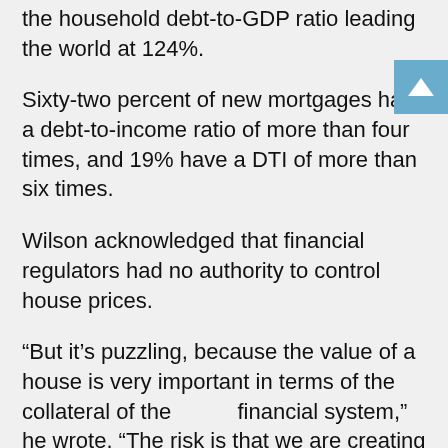the household debt-to-GDP ratio leading the world at 124%.
Sixty-two percent of new mortgages have a debt-to-income ratio of more than four times, and 19% have a DTI of more than six times.
Wilson acknowledged that financial regulators had no authority to control house prices.
“But it’s puzzling, because the value of a house is very important in terms of the collateral of the financial system,” he wrote. “The risk is that we are creating a vulnerable banking system, which last year had to defer about 10 per cent of its loans as a result of the pandemic. The banks have plenty of capital and provisions, but we’re creating some